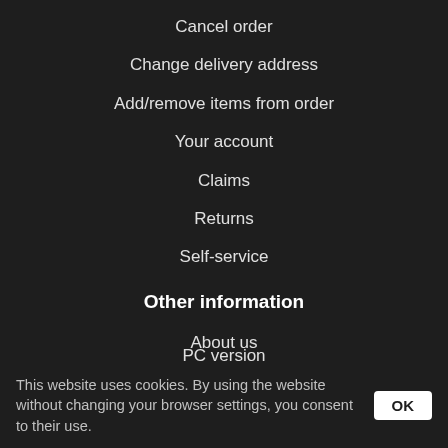Cancel order
Change delivery address
Add/remove items from order
Your account
Claims
Returns
Self-service
Other information
About us
Report a bug
Help
Contact
PC version
This website uses cookies. By using the website without changing your browser settings, you consent to their use.